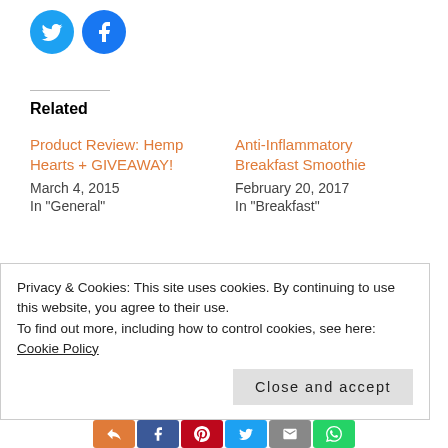[Figure (other): Twitter and Facebook circular social share buttons]
Related
Product Review: Hemp Hearts + GIVEAWAY!
March 4, 2015
In "General"
Anti-Inflammatory Breakfast Smoothie
February 20, 2017
In "Breakfast"
5 Reasons Why I'm Detoxing with Gerolsteiner Sparkling Mineral Water
September 8, 2017
Privacy & Cookies: This site uses cookies. By continuing to use this website, you agree to their use.
To find out more, including how to control cookies, see here: Cookie Policy
Close and accept